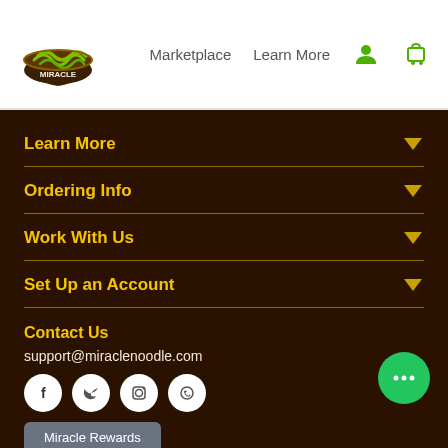[Figure (logo): Miracle Noodle logo - green noodle bowl on dark bowl]
Marketplace  Learn More
Learn More
Ordering Info
Work With Us
Set Up an Account
Contact Us
support@miraclenoodle.com
[Figure (illustration): Social media icons: Facebook, Twitter, Instagram, WhatsApp]
Miracle Rewards